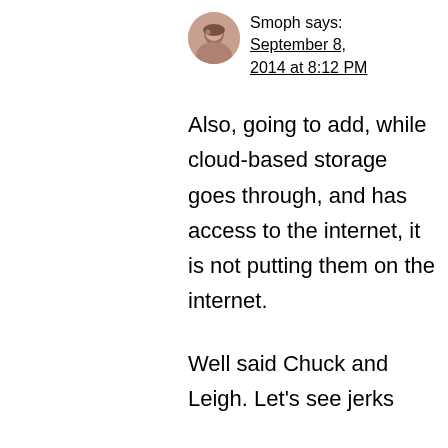Smoph says: September 8, 2014 at 8:12 PM
Also, going to add, while cloud-based storage goes through, and has access to the internet, it is not putting them on the internet.
Well said Chuck and Leigh. Let's see jerks